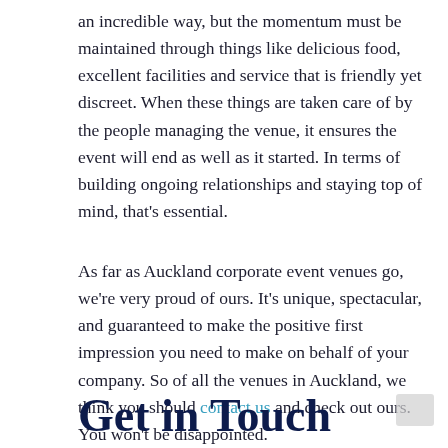an incredible way, but the momentum must be maintained through things like delicious food, excellent facilities and service that is friendly yet discreet. When these things are taken care of by the people managing the venue, it ensures the event will end as well as it started. In terms of building ongoing relationships and staying top of mind, that's essential.
As far as Auckland corporate event venues go, we're very proud of ours. It's unique, spectacular, and guaranteed to make the positive first impression you need to make on behalf of your company. So of all the venues in Auckland, we think you should contact us and check out ours. You won't be disappointed.
Get in Touch